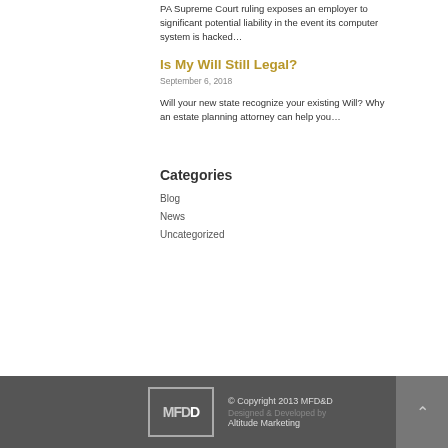PA Supreme Court ruling exposes an employer to significant potential liability in the event its computer system is hacked…
Is My Will Still Legal?
September 6, 2018
Will your new state recognize your existing Will? Why an estate planning attorney can help you…
Categories
Blog
News
Uncategorized
© Copyright 2013 MFD&D Designed & Developed by Altitude Marketing